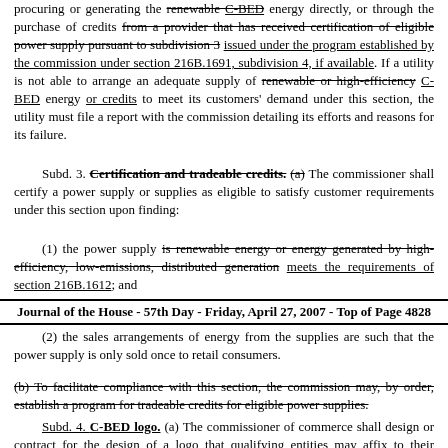procuring or generating the renewable C-BED energy directly, or through the purchase of credits from a provider that has received certification of eligible power supply pursuant to subdivision 3 issued under the program established by the commission under section 216B.1691, subdivision 4, if available. If a utility is not able to arrange an adequate supply of renewable or high-efficiency C-BED energy or credits to meet its customers' demand under this section, the utility must file a report with the commission detailing its efforts and reasons for its failure.
Subd. 3. Certification and tradeable credits. (a) The commissioner shall certify a power supply or supplies as eligible to satisfy customer requirements under this section upon finding:
(1) the power supply is renewable energy or energy generated by high-efficiency, low-emissions, distributed generation meets the requirements of section 216B.1612; and
Journal of the House - 57th Day - Friday, April 27, 2007 - Top of Page 4828
(2) the sales arrangements of energy from the supplies are such that the power supply is only sold once to retail consumers.
(b) To facilitate compliance with this section, the commission may, by order, establish a program for tradeable credits for eligible power supplies.
Subd. 4. C-BED logo. (a) The commissioner of commerce shall design or contract for the design of a logo that qualifying entities may affix to their products and to advertising for their products that contains the words "100% Minnesota Renewable Energy". The logo may also contain icons or other digital or artistic elements...